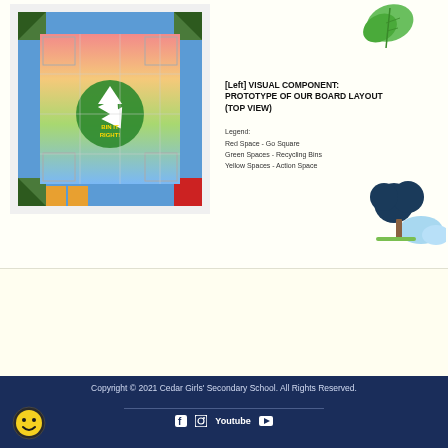[Figure (illustration): Top view prototype of a board game layout with colorful border spaces (blue, orange, green corners), a rainbow gradient center showing a recycling symbol and 'Bin It Right!' text]
[Figure (illustration): Decorative green leaf in top-right corner]
[Left] VISUAL COMPONENT: PROTOTYPE OF OUR BOARD LAYOUT (TOP VIEW)
Legend:
Red Space - Go Square
Green Spaces - Recycling Bins
Yellow Spaces - Action Space
[Figure (illustration): Decorative tree with dark blue foliage and light blue clouds in bottom-right of top section]
VISUAL EXAMPLES OF THE COMPONENTS OF OUR BOARD GAME
CENTREPIECE OF BOARD
[Figure (photo): Centrepiece of board showing rainbow gradient background with recycling symbol]
GO SIGN
[Figure (photo): Go sign showing red gradient background with yellow GO! text]
COMMUNITY SERVICE
[Figure (illustration): Community service card showing a person in green shirt doing community service]
Copyright © 2021 Cedar Girls' Secondary School. All Rights Reserved.